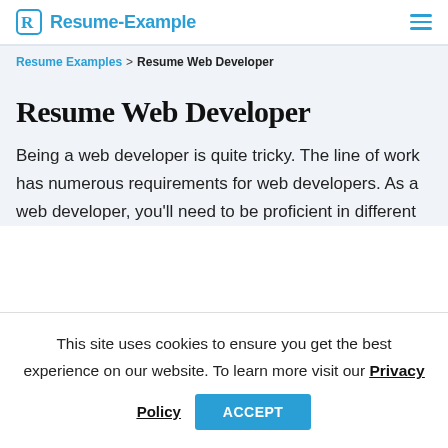Resume-Example
Resume Examples > Resume Web Developer
Resume Web Developer
Being a web developer is quite tricky. The line of work has numerous requirements for web developers. As a web developer, you'll need to be proficient in different
This site uses cookies to ensure you get the best experience on our website. To learn more visit our Privacy Policy
ACCEPT